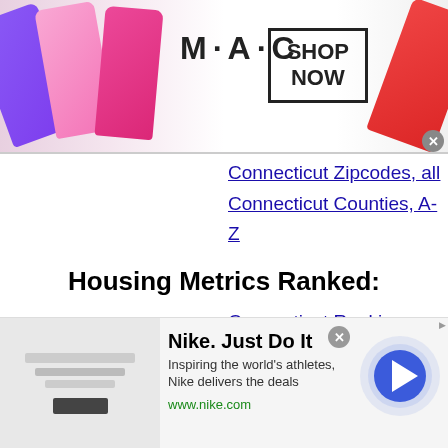[Figure (photo): MAC cosmetics advertisement banner showing lipsticks and SHOP NOW box]
Connecticut Zipcodes, all
Connecticut Counties, A-Z
Housing Metrics Ranked:
Connecticut Rankings
All State Rankings
Top 100 US Cities Ranked
Search All US:
[Figure (screenshot): Search input text box]
[Figure (photo): Nike advertisement banner: Nike. Just Do It — Inspiring the world's athletes, Nike delivers the deals — www.nike.com]